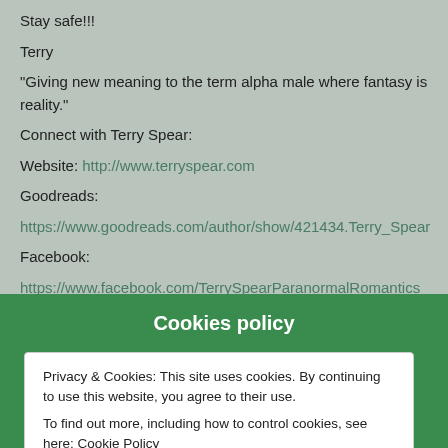Stay safe!!!
Terry
“Giving new meaning to the term alpha male where fantasy is reality.”
Connect with Terry Spear:
Website: http://www.terryspear.com
Goodreads:
https://www.goodreads.com/author/show/421434.Terry_Spear
Facebook:
https://www.facebook.com/TerrySpearParanormalRomantics
Twitter: https://twitter.com/TerrySpear
Wilde & Woolly Bears: http://www.celticbears.com
Cookies policy
Privacy & Cookies: This site uses cookies. By continuing to use this website, you agree to their use.
To find out more, including how to control cookies, see here: Cookie Policy
Close and accept